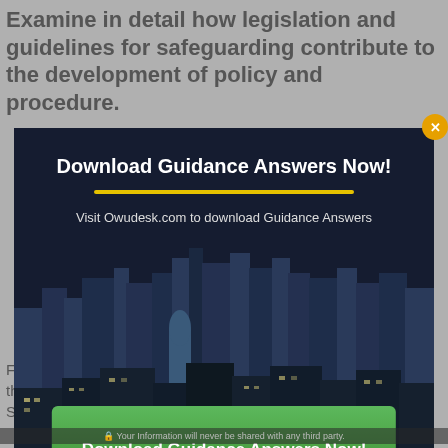Examine in detail how legislation and guidelines for safeguarding contribute to the development of policy and procedure.
[Figure (screenshot): Modal popup overlay with city skyline background. Contains title 'Download Guidance Answers Now!', a yellow horizontal line, subtitle 'Visit Owudesk.com to download Guidance Answers', and a large green button labeled 'Download Guidance Answers Now!'. An orange close button is visible at top right.]
For any operating setting or a setting that is planning to open, they must have in place safeguarding policies and procedures. Safeguarding is a term
Your Information will never be shared with any third party.